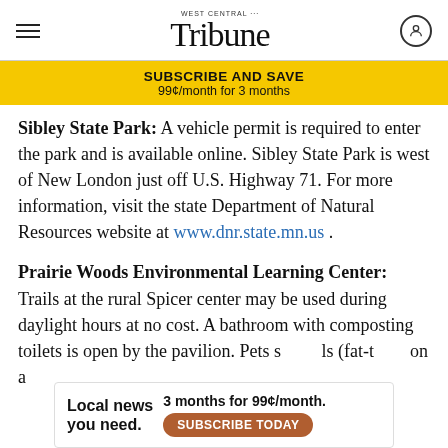West Central Tribune
SUBSCRIBE AND SAVE 99¢/month for 3 months
Sibley State Park: A vehicle permit is required to enter the park and is available online. Sibley State Park is west of New London just off U.S. Highway 71. For more information, visit the state Department of Natural Resources website at www.dnr.state.mn.us .
Prairie Woods Environmental Learning Center: Trails at the rural Spicer center may be used during daylight hours at no cost. A bathroom with composting toilets is open by the pavilion. Pets s...ls (fat-t...on a
[Figure (other): Advertisement overlay: 'Local news you need. 3 months for 99¢/month. SUBSCRIBE TODAY']